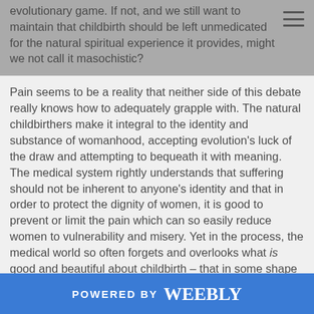evolutionary game. If not, and we still want to maintain that childbirth should be left unmedicated for the natural spiritual experience it provides, might we not call it masochistic?
Pain seems to be a reality that neither side of this debate really knows how to adequately grapple with. The natural childbirthers make it integral to the identity and substance of womanhood, accepting evolution's luck of the draw and attempting to bequeath it with meaning. The medical system rightly understands that suffering should not be inherent to anyone's identity and that in order to protect the dignity of women, it is good to prevent or limit the pain which can so easily reduce women to vulnerability and misery. Yet in the process, the medical world so often forgets and overlooks what is good and beautiful about childbirth – that in some shape or form it is what women were created to do. The medical profession, as represented by the doctor writing this book, equivocates childbirth and a broken arm in order to suggest we are foolish not to offer women medical
POWERED BY weebly